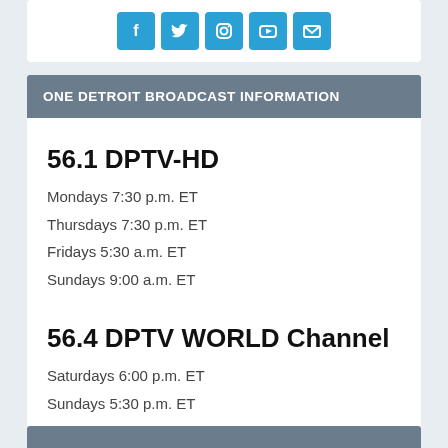[Figure (other): Row of social media icon buttons (Facebook, Twitter, Instagram, YouTube, Email) in blue on white card]
ONE DETROIT BROADCAST INFORMATION
56.1 DPTV-HD
Mondays 7:30 p.m. ET
Thursdays 7:30 p.m. ET
Fridays 5:30 a.m. ET
Sundays 9:00 a.m. ET
56.4 DPTV WORLD Channel
Saturdays 6:00 p.m. ET
Sundays 5:30 p.m. ET